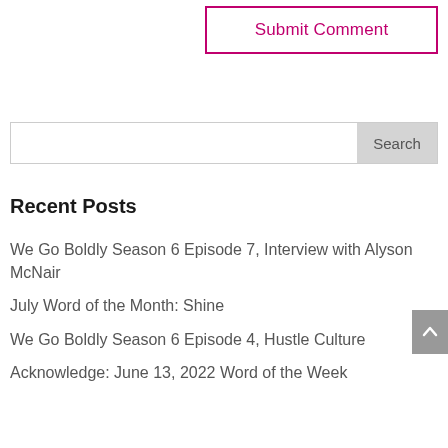Submit Comment
Search
Recent Posts
We Go Boldly Season 6 Episode 7, Interview with Alyson McNair
July Word of the Month: Shine
We Go Boldly Season 6 Episode 4, Hustle Culture
Acknowledge: June 13, 2022 Word of the Week